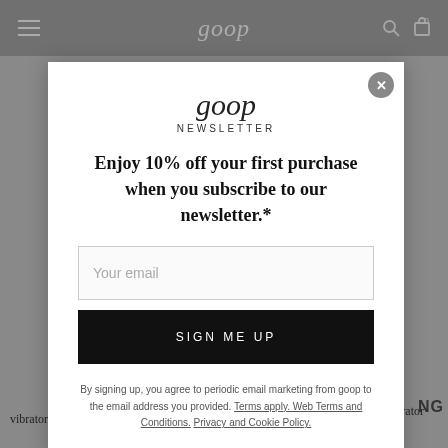goop
goop
NEWSLETTER
Enjoy 10% off your first purchase when you subscribe to our newsletter.*
Your email
SIGN ME UP
By signing up, you agree to periodic email marketing from goop to the email address you provided. Terms apply. Web Terms and Conditions. Privacy and Cookie Policy.
vibrator designed to stimulate